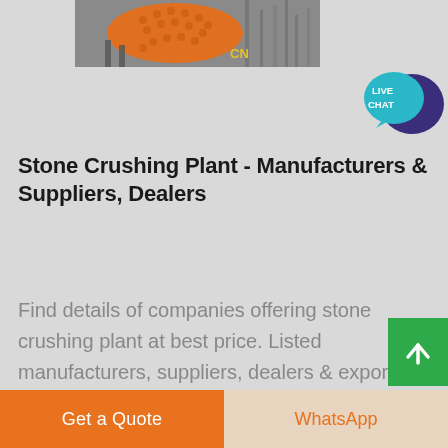[Figure (photo): Partial view of an orange industrial stone crushing / ball mill machine at a construction site, with 'CN' watermark in yellow text]
[Figure (illustration): Live Chat button: teal speech bubble with 'LIVE CHAT' text overlapping a dark purple speech bubble]
Stone Crushing Plant - Manufacturers & Suppliers, Dealers
Find details of companies offering stone crushing plant at best price. Listed manufacturers, suppliers, dealers & exporters are offering best deals for stone crushing plant
[Figure (illustration): Green scroll-to-top button with white upward arrow]
Get a Quote
WhatsApp